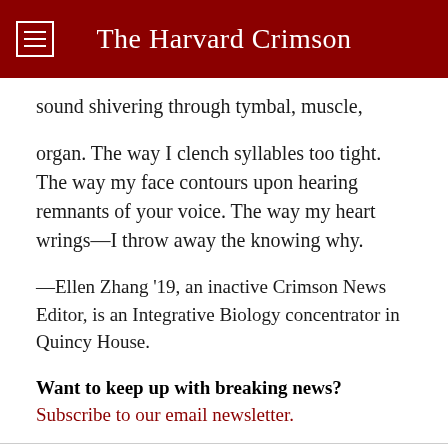The Harvard Crimson
sound shivering through tymbal, muscle,
organ. The way I clench syllables too tight.
The way my face contours upon hearing
remnants of your voice. The way my heart
wrings—I throw away the knowing why.
—Ellen Zhang '19, an inactive Crimson News Editor, is an Integrative Biology concentrator in Quincy House.
Want to keep up with breaking news? Subscribe to our email newsletter.
TAGS  ARTS